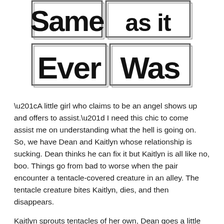[Figure (illustration): Stylized hand-lettered title text reading 'Same as it Ever Was' in a bold black graffiti/brush font with rectangular border outlines behind each word, giving a sticker or stamp effect.]
“A little girl who claims to be an angel shows up and offers to assist.” I need this chic to come assist me on understanding what the hell is going on. So, we have Dean and Kaitlyn whose relationship is sucking. Dean thinks he can fix it but Kaitlyn is all like no, boo. Things go from bad to worse when the pair encounter a tentacle-covered creature in an alley. The tentacle creature bites Kaitlyn, dies, and then disappears.
Kaitlyn sprouts tentacles of her own, Dean goes a little nuts with bouts of psychosis in this anti-romance filled with occult, intrigue, and redemption. More about this in the press release below.